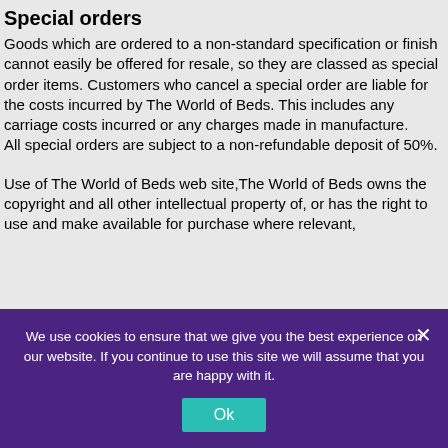Special orders
Goods which are ordered to a non-standard specification or finish cannot easily be offered for resale, so they are classed as special order items. Customers who cancel a special order are liable for the costs incurred by The World of Beds. This includes any carriage costs incurred or any charges made in manufacture.
All special orders are subject to a non-refundable deposit of 50%.
Use of The World of Beds web site,The World of Beds owns the copyright and all other intellectual property of, or has the right to use and make available for purchase where relevant,
We use cookies to ensure that we give you the best experience on our website. If you continue to use this site we will assume that you are happy with it.